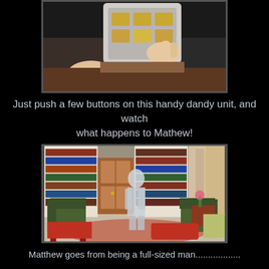[Figure (photo): Close-up of hands pressing buttons on a remote control or electronic keypad device with illuminated buttons]
Just push a few buttons on this handy dandy unit, and watch what happens to Mathew!
[Figure (photo): A library/study room scene with bookshelves, a door, armchairs, sofa, and a translucent/ghostly figure of a man standing in the center]
Matthew goes from being a full-sized man................